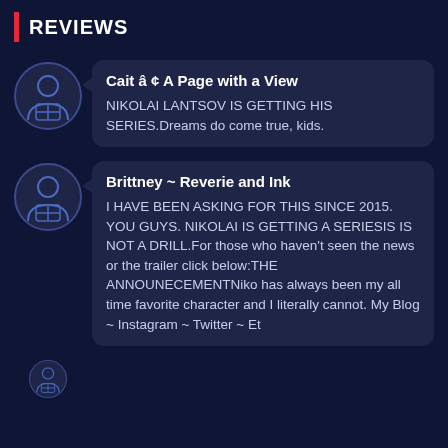REVIEWS
Cait â ¢ A Page with a View
NIKOLAI LANTSOV IS GETTING HIS SERIES.Dreams do come true, kids.
Brittney ~ Reverie and Ink
I HAVE BEEN ASKING FOR THIS SINCE 2015. YOU GUYS. NIKOLAI IS GETTING A SERIESIS IS NOT A DRILL.For those who haven't seen the news or the trailer click below:THE ANNOUNECEMENTNiko has always been my all time favorite character and I literally cannot. My Blog ~ Instagram ~ Twitter ~ Et